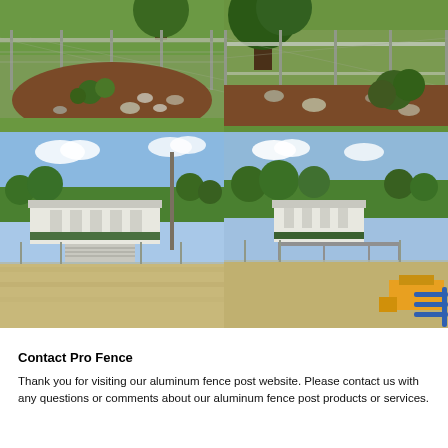[Figure (photo): Top-left: Chain-link fence enclosing a garden bed with mulch, rocks, and shrubs on a lawn]
[Figure (photo): Top-right: Chain-link fence near a large tree with mulch, rocks, and low shrubs]
[Figure (photo): Bottom-left: Baseball/softball field with sandy infield, chain-link fence, bleachers, and a white-roofed building in background]
[Figure (photo): Bottom-right: Baseball/softball field with dugout covered structure, sandy infield, trees, and construction equipment visible]
Contact Pro Fence
Thank you for visiting our aluminum fence post website. Please contact us with any questions or comments about our aluminum fence post products or services.